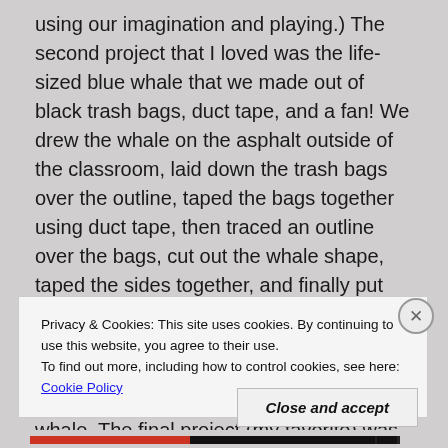using our imagination and playing.) The second project that I loved was the life-sized blue whale that we made out of black trash bags, duct tape, and a fan! We drew the whale on the asphalt outside of the classroom, laid down the trash bags over the outline, taped the bags together using duct tape, then traced an outline over the bags, cut out the whale shape, taped the sides together, and finally put the fan in the tail of the whale so that it could be inflated! We then added ribs, sea weed, organs, and facts about blue whales on the interior of the inflatable whale. The final project (my favorite) was that
Privacy & Cookies: This site uses cookies. By continuing to use this website, you agree to their use.
To find out more, including how to control cookies, see here: Cookie Policy
Close and accept